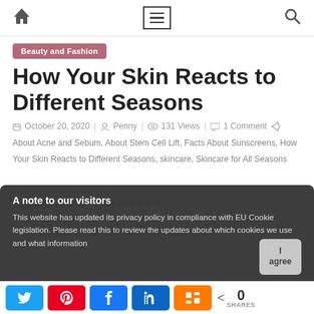Navigation bar with home icon, menu icon, and search icon
Beauty and Fashion
How Your Skin Reacts to Different Seasons
October 20, 2020  Penny  131 Views  1 Comment
About Acne and Sebum, About Stem Cell Lift, Facts About Sunscreens, How Your Skin Reacts to Different Seasons, skincare, Skincare for All Seasons
A note to our visitors
This website has updated its privacy policy in compliance with EU Cookie legislation. Please read this to review the updates about which cookies we use and what information
I agree
Share buttons: Twitter, Pinterest, Facebook, LinkedIn, Mix. 0 SHARES